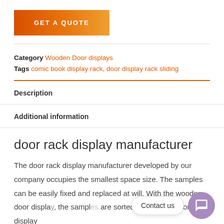GET A QUOTE
Category Wooden Door displays
Tags comic book display rack, door display rack sliding
Description
Additional information
door rack display manufacturer
The door rack display manufacturer developed by our company occupies the smallest space size. The samples can be easily fixed and replaced at will. With the wooden door display, the samples are sorted neatly. Our door rack display